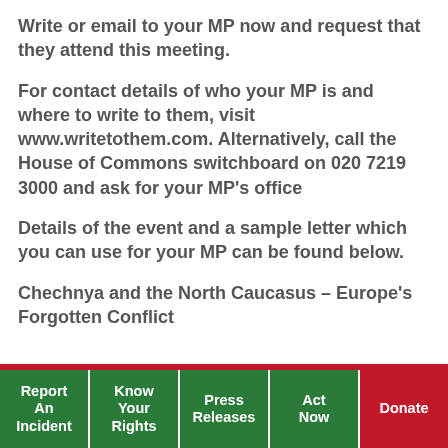Write or email to your MP now and request that they attend this meeting.
For contact details of who your MP is and where to write to them, visit www.writetothem.com. Alternatively, call the House of Commons switchboard on 020 7219 3000 and ask for your MP's office
Details of the event and a sample letter which you can use for your MP can be found below.
Chechnya and the North Caucasus – Europe's Forgotten Conflict
Report An Incident | Know Your Rights | Press Releases | Act Now | Donate